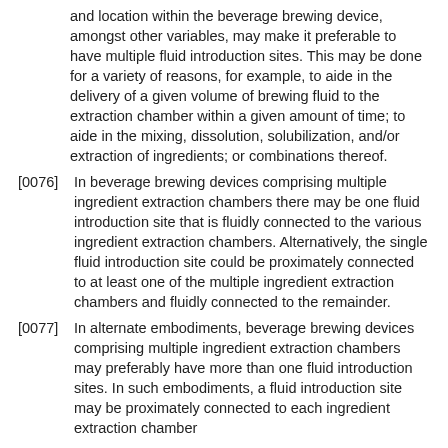and location within the beverage brewing device, amongst other variables, may make it preferable to have multiple fluid introduction sites. This may be done for a variety of reasons, for example, to aide in the delivery of a given volume of brewing fluid to the extraction chamber within a given amount of time; to aide in the mixing, dissolution, solubilization, and/or extraction of ingredients; or combinations thereof.
[0076] In beverage brewing devices comprising multiple ingredient extraction chambers there may be one fluid introduction site that is fluidly connected to the various ingredient extraction chambers. Alternatively, the single fluid introduction site could be proximately connected to at least one of the multiple ingredient extraction chambers and fluidly connected to the remainder.
[0077] In alternate embodiments, beverage brewing devices comprising multiple ingredient extraction chambers may preferably have more than one fluid introduction sites. In such embodiments, a fluid introduction site may be proximately connected to each ingredient extraction chamber